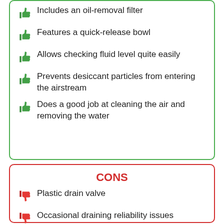Includes an oil-removal filter
Features a quick-release bowl
Allows checking fluid level quite easily
Prevents desiccant particles from entering the airstream
Does a good job at cleaning the air and removing the water
CONS
Plastic drain valve
Occasional draining reliability issues